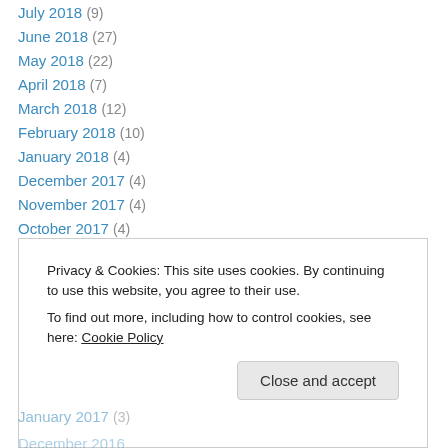July 2018 (9)
June 2018 (27)
May 2018 (22)
April 2018 (7)
March 2018 (12)
February 2018 (10)
January 2018 (4)
December 2017 (4)
November 2017 (4)
October 2017 (4)
September 2017 (8)
August 2017 (18)
July 2017 (30)
Privacy & Cookies: This site uses cookies. By continuing to use this website, you agree to their use. To find out more, including how to control cookies, see here: Cookie Policy
January 2017 (3)
December 2016 (4)